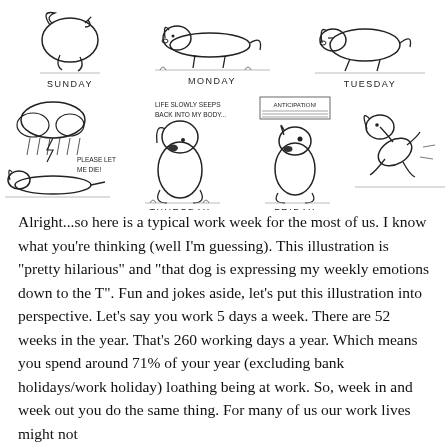[Figure (illustration): A comic strip showing Snoopy-like dog through days of the week. Top row: SUNDAY (dog tangled in something), MONDAY (dog lying flat lazily), TUESDAY (dog lying on side). Bottom row: WEDNESDAY (rain cloud with dog lying flat saying 'PLEASE LET ME DIE!'), THURSDAY (dog sitting up with text 'LIFE SLOWLY SEEPS BACK INTO MY BODY...'), FRIDAY (dog sitting alert with 'ANTICIPATION!' musical notes), and a fourth panel (dog leaping joyfully, presumably Saturday).]
Alright...so here is a typical work week for the most of us. I know what you're thinking (well I'm guessing). This illustration is "pretty hilarious" and "that dog is expressing my weekly emotions down to the T". Fun and jokes aside, let's put this illustration into perspective. Let's say you work 5 days a week. There are 52 weeks in the year. That's 260 working days a year. Which means you spend around 71% of your year (excluding bank holidays/work holiday) loathing being at work. So, week in and week out you do the same thing. For many of us our work lives might not